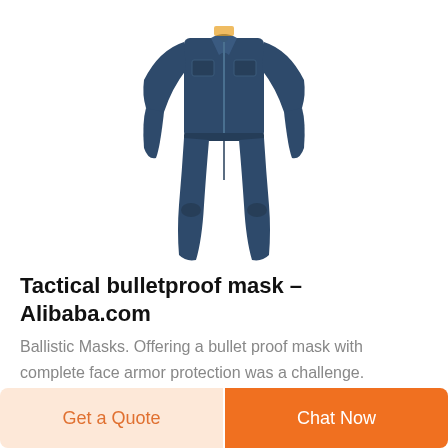[Figure (photo): A dark navy blue full-body coverall/jumpsuit displayed flat against a white background, with long sleeves and full-length legs, featuring a front zipper closure.]
Tactical bulletproof mask – Alibaba.com
Ballistic Masks. Offering a bullet proof mask with complete face armor protection was a challenge.